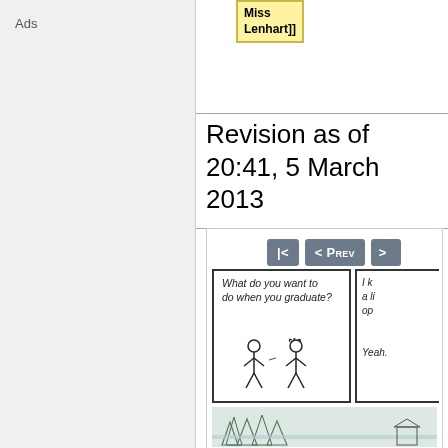Ads
[Figure (screenshot): Yellow highlighted box with text 'Miss Lenhart]]']
Revision as of 20:41, 5 March 2013
[Figure (illustration): Navigation buttons '|<' and '< Prev' in gray, followed by xkcd comic panels showing stick figures with text 'What do you want to do when you graduate?' and partial second panel with 'I [keep] a li[fe of] op[en]... Yeah.', plus a landscape scene with pine trees below]